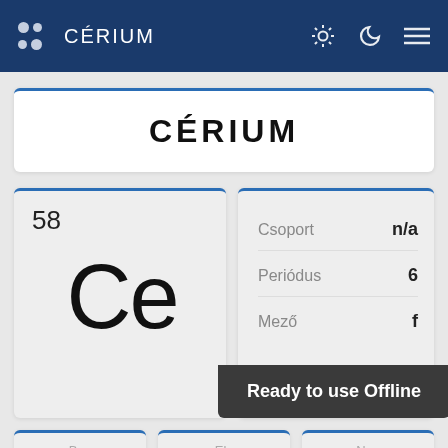CÉRIUM
CÉRIUM
58 Ce
| Property | Value |
| --- | --- |
| Csoport | n/a |
| Periódus | 6 |
| Mező | f |
Ready to use Offline
Be... El... Na...